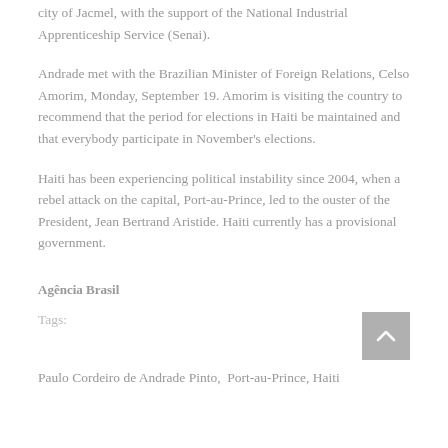city of Jacmel, with the support of the National Industrial Apprenticeship Service (Senai).
Andrade met with the Brazilian Minister of Foreign Relations, Celso Amorim, Monday, September 19. Amorim is visiting the country to recommend that the period for elections in Haiti be maintained and that everybody participate in November's elections.
Haiti has been experiencing political instability since 2004, when a rebel attack on the capital, Port-au-Prince, led to the ouster of the President, Jean Bertrand Aristide. Haiti currently has a provisional government.
Agência Brasil
Tags:
Paulo Cordeiro de Andrade Pinto,  Port-au-Prince, Haiti